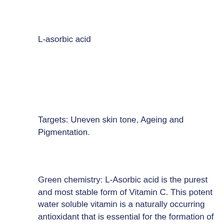L-asorbic acid
Targets: Uneven skin tone, Ageing and Pigmentation.
Green chemistry: L-Asorbic acid is the purest and most stable form of Vitamin C. This potent water soluble vitamin is a naturally occurring antioxidant that is essential for the formation of the amino acids that make collagen within the skin, helping to prevent wrinkles, dryness and